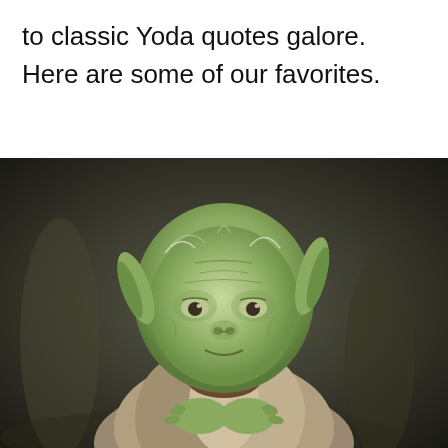to classic Yoda quotes galore. Here are some of our favorites.
[Figure (photo): Close-up photograph of Yoda, the Star Wars character, set against a dark blurred background. Yoda is green-skinned with large pointed ears, white hair, and wearing a brown robe. His hands are clasped in front of him and he has a slight smile.]